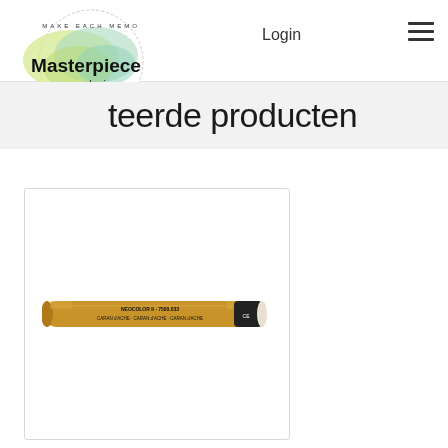Masterpiece design — Login
...teerde producten
[Figure (photo): A single golden/yellow Neocolor II wax crayon by Caran d'Ache, product number 7500.033, shown horizontally against a white background inside a product card.]